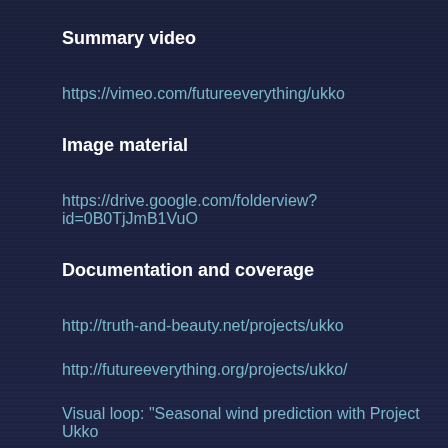Summary video
https://vimeo.com/futureeverything/ukko
Image material
https://drive.google.com/folderview?id=0B0TjJmB1VuO
Documentation and coverage
http://truth-and-beauty.net/projects/ukko
http://futureeverything.org/projects/ukko/
Visual loop: "Seasonal wind prediction with Project Ukko